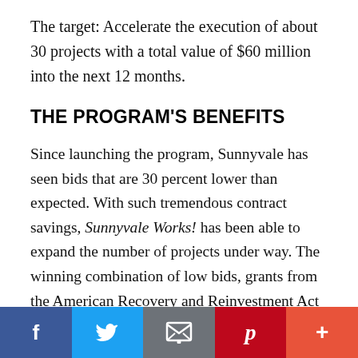The target: Accelerate the execution of about 30 projects with a total value of $60 million into the next 12 months.
THE PROGRAM'S BENEFITS
Since launching the program, Sunnyvale has seen bids that are 30 percent lower than expected. With such tremendous contract savings, Sunnyvale Works! has been able to expand the number of projects under way. The winning combination of low bids, grants from the American Recovery and Reinvestment Act (ARRA) and the state, and a